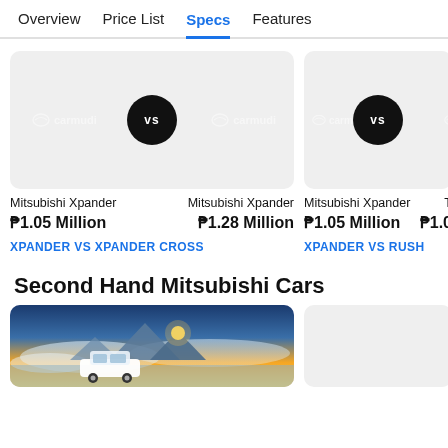Overview  Price List  Specs  Features
[Figure (screenshot): Car comparison card showing Mitsubishi Xpander vs Mitsubishi Xpander with Carmudi watermark and VS circle badge]
Mitsubishi Xpander    Mitsubishi Xpander
₱1.05 Million    ₱1.28 Million
XPANDER VS XPANDER CROSS
[Figure (screenshot): Partial car comparison card showing Mitsubishi Xpander vs T... with Carmudi watermark and VS circle badge]
Mitsubishi Xpander    T
₱1.05 Million    ₱1.0
XPANDER VS RUSH
Second Hand Mitsubishi Cars
[Figure (photo): White SUV on mountain landscape with clouds and sunset]
[Figure (photo): Placeholder grey card for second hand car]